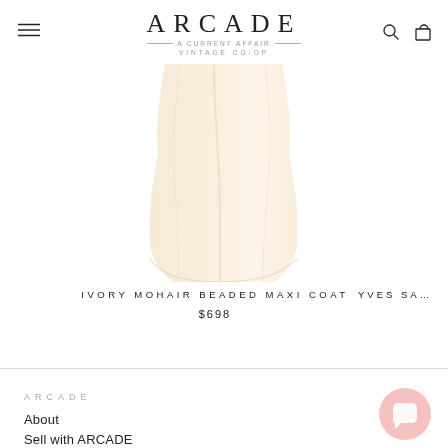ARCADE — A CURRENT AFFAIR — VINTAGE CO-OP
[Figure (photo): Cream/ivory colored garment (coat) on white background, lower portion visible]
IVORY MOHAIR BEADED MAXI COAT
$698
YVES SA…
ARCADE
About
Sell with ARCADE